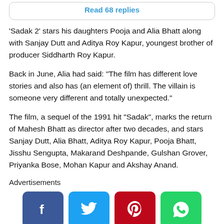Read 68 replies
'Sadak 2' stars his daughters Pooja and Alia Bhatt along with Sanjay Dutt and Aditya Roy Kapur, youngest brother of producer Siddharth Roy Kapur.
Back in June, Alia had said: “The film has different love stories and also has (an element of) thrill. The villain is someone very different and totally unexpected.”
The film, a sequel of the 1991 hit “Sadak”, marks the return of Mahesh Bhatt as director after two decades, and stars Sanjay Dutt, Alia Bhatt, Aditya Roy Kapur, Pooja Bhatt, Jisshu Sengupta, Makarand Deshpande, Gulshan Grover, Priyanka Bose, Mohan Kapur and Akshay Anand.
Advertisements
[Figure (infographic): Social sharing buttons for Facebook, Twitter, Pinterest, and WhatsApp]